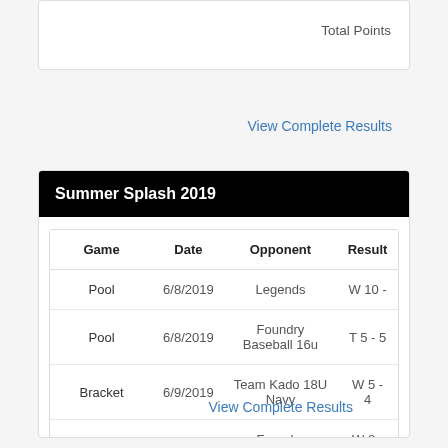|  | Total Points |
| --- | --- |
|  |
View Complete Results
Summer Splash 2019
| Game | Date | Opponent | Result |
| --- | --- | --- | --- |
| Pool | 6/8/2019 | Legends | W 10 - |
| Pool | 6/8/2019 | Foundry Baseball 16u | T 5 - 5 |
| Bracket | 6/9/2019 | Team Kado 18U Navy | W 5 - 4 |
| Championship | 6/9/2019 | Foundry Baseball 16u | W 8 - 6 |
|  |  |  | Total Points |
View Complete Results